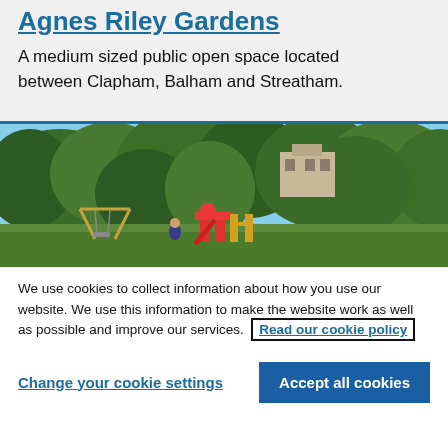Agnes Riley Gardens
A medium sized public open space located between Clapham, Balham and Streatham.
[Figure (photo): Outdoor photo of Agnes Riley Gardens showing playground equipment including a red and yellow slide, climbing frame, and swing set surrounded by dense green trees with a building visible in the background under a blue sky.]
We use cookies to collect information about how you use our website. We use this information to make the website work as well as possible and improve our services. Read our cookie policy
Change your cookie settings
Accept all cookies